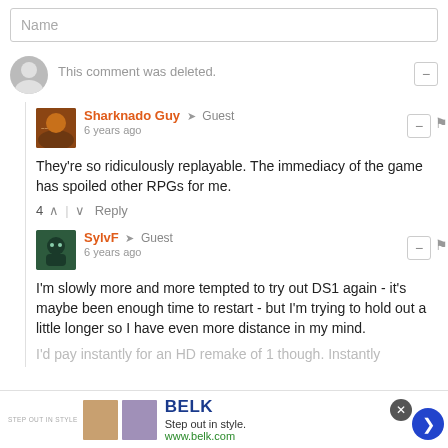Name
This comment was deleted.
Sharknado Guy → Guest
6 years ago
They're so ridiculously replayable. The immediacy of the game has spoiled other RPGs for me.
4 ∧ | ∨ Reply
SylvF → Guest
6 years ago
I'm slowly more and more tempted to try out DS1 again - it's maybe been enough time to restart - but I'm trying to hold out a little longer so I have even more distance in my mind.
I'd pay instantly for an HD remake of 1 though. Instantly.
[Figure (screenshot): Ad banner for BELK: Step out in style. www.belk.com with two clothing images and navigation arrow.]